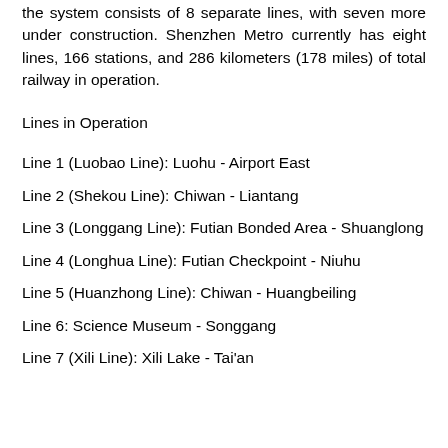the system consists of 8 separate lines, with seven more under construction. Shenzhen Metro currently has eight lines, 166 stations, and 286 kilometers (178 miles) of total railway in operation.
Lines in Operation
Line 1 (Luobao Line): Luohu - Airport East
Line 2 (Shekou Line): Chiwan - Liantang
Line 3 (Longgang Line): Futian Bonded Area - Shuanglong
Line 4 (Longhua Line): Futian Checkpoint - Niuhu
Line 5 (Huanzhong Line): Chiwan - Huangbeiling
Line 6: Science Museum - Songgang
Line 7 (Xili Line): Xili Lake - Tai'an